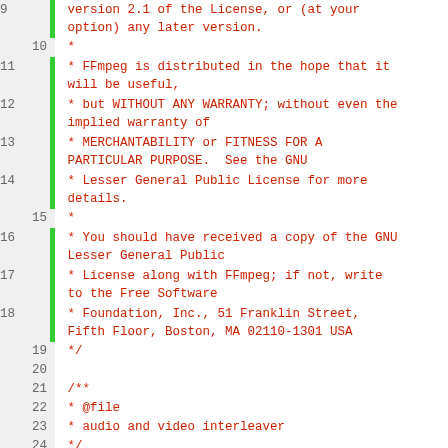Source code view: FFmpeg license header and includes (lines 9-35)
9:  version 2.1 of the License, or (at your option) any later version.
10: *
11: * FFmpeg is distributed in the hope that it will be useful,
12: * but WITHOUT ANY WARRANTY; without even the implied warranty of
13: * MERCHANTABILITY or FITNESS FOR A PARTICULAR PURPOSE.  See the GNU
14: * Lesser General Public License for more details.
15: *
16: * You should have received a copy of the GNU Lesser General Public
17: * License along with FFmpeg; if not, write to the Free Software
18: * Foundation, Inc., 51 Franklin Street, Fifth Floor, Boston, MA 02110-1301 USA
19: */
20:
21: /**
22: * @file
23: * audio and video interleaver
24: */
25:
26: #include "libavutil/avassert.h"
27: #include "libavutil/avstring.h"
28: #include "libavutil/opt.h"
29:
30: #define FF_INTERNAL_FIELDS 1
31: #include "framequeue.h"
32:
33: #include "avfilter.h"
34: #include "bufferqueue.h"
35: #include "formats.h"